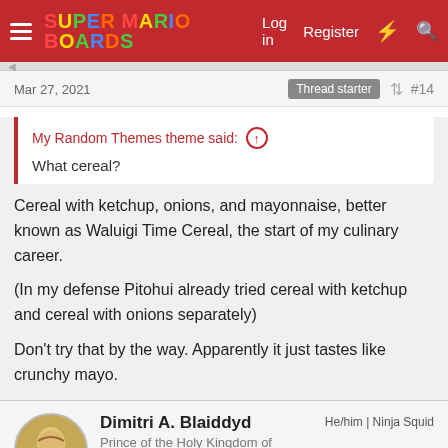Super Mario Boards — Log in | Register
Mar 27, 2021  Thread starter  #14
My Random Themes theme said: What cereal?
Cereal with ketchup, onions, and mayonnaise, better known as Waluigi Time Cereal, the start of my culinary career.

(In my defense Pitohui already tried cereal with ketchup and cereal with onions separately)

Don't try that by the way. Apparently it just tastes like crunchy mayo.
Dimitri A. Blaiddyd
Prince of the Holy Kingdom of Faerghus
He/him | Ninja Squid
Awards Committee | Poll Committee